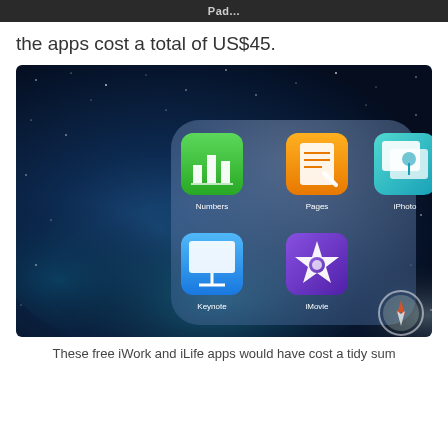Pad...
the apps cost a total of US$45.
[Figure (screenshot): iPad screenshot showing a folder open on iOS 7 with 5 app icons: Numbers (green icon with bar chart), Pages (orange icon with pen/paper), iPhoto (teal icon with photo frames), Keynote (blue icon with presentation screen), and iMovie (purple icon with star). The background is a starry space/nebula iOS 7 wallpaper.]
These free iWork and iLife apps would have cost a tidy sum